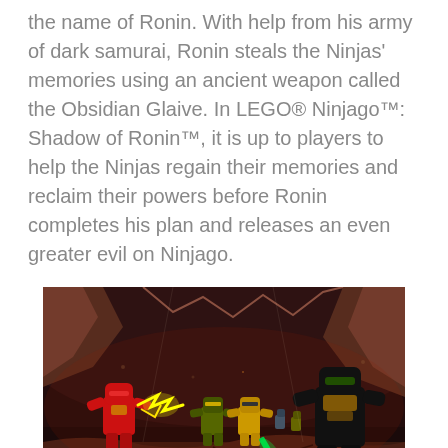the name of Ronin. With help from his army of dark samurai, Ronin steals the Ninjas' memories using an ancient weapon called the Obsidian Glaive. In LEGO® Ninjago™: Shadow of Ronin™, it is up to players to help the Ninjas regain their memories and reclaim their powers before Ronin completes his plan and releases an even greater evil on Ninjago.
[Figure (screenshot): A screenshot from LEGO Ninjago: Shadow of Ronin video game showing LEGO minifigure characters including a red ninja and a black ninja in a dark cave-like setting.]